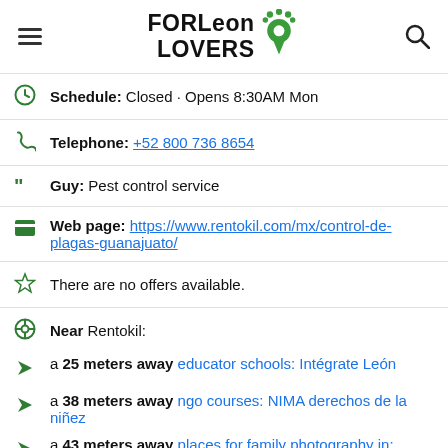FORLeon LOVERS (logo with navigation icons)
Schedule: Closed · Opens 8:30AM Mon
Telephone: +52 800 736 8654
Guy: Pest control service
Web page: https://www.rentokil.com/mx/control-de-plagas-guanajuato/
There are no offers available.
Near Rentokil:
a 25 meters away educator schools: Intégrate León
a 38 meters away ngo courses: NIMA derechos de la niñez
a 43 meters away places for family photography in: Fotomiauu